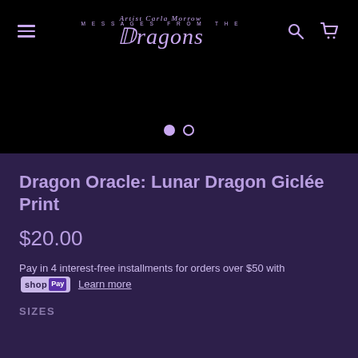Artist Carla Morrow — Messages from the Dragons
[Figure (screenshot): Navigation bar on black background with hamburger menu icon on left, 'Artist Carla Morrow Messages from the Dragons' logo in center in purple/lavender, search and cart icons on right]
[Figure (other): Image carousel pagination dots: one filled circle (active) and one empty circle]
Dragon Oracle: Lunar Dragon Giclée Print
$20.00
Pay in 4 interest-free installments for orders over $50 with Shop Pay Learn more
SIZES